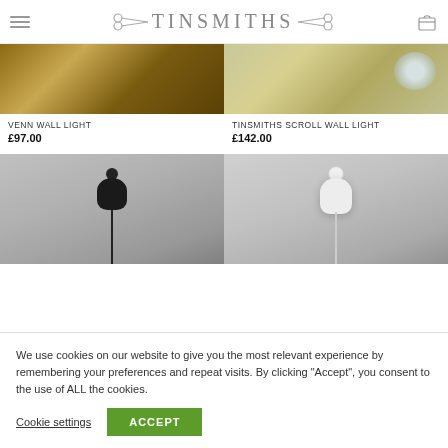TINSMITHS
[Figure (photo): Venn Wall Light product photo - warm wood tones background]
[Figure (photo): Tinsmiths Scroll Wall Light product photo - light fabric shade on textured background]
VENN WALL LIGHT
£97.00
TINSMITHS SCROLL WALL LIGHT
£142.00
[Figure (photo): Black wall light with cord against grey background]
[Figure (photo): White wall light against grey background]
We use cookies on our website to give you the most relevant experience by remembering your preferences and repeat visits. By clicking "Accept", you consent to the use of ALL the cookies.
Cookie settings
ACCEPT